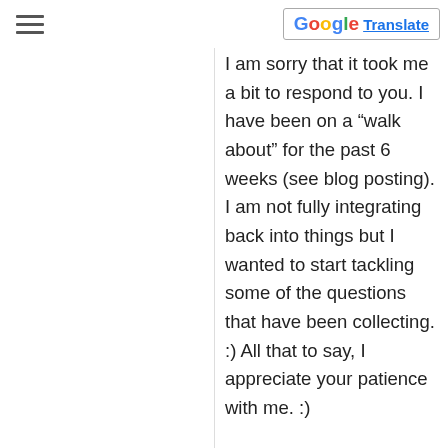I am sorry that it took me a bit to respond to you. I have been on a “walk about” for the past 6 weeks (see blog posting). I am not fully integrating back into things but I wanted to start tackling some of the questions that have been collecting. :) All that to say, I appreciate your patience with me. :)
Welcome to my site, I am so glad that you landed here. Please don’t hesitate to ask questions or make comments. To answer your question, yes, either nut would be just fine. :) Have a blessed day, amie sue
REPLY
marysteinborn
says:
November 23, 2016 at 9:08 am